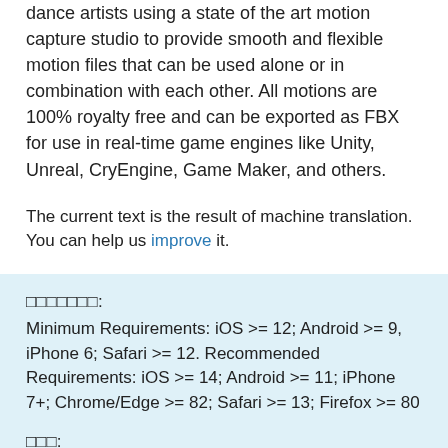dance artists using a state of the art motion capture studio to provide smooth and flexible motion files that can be used alone or in combination with each other. All motions are 100% royalty free and can be exported as FBX for use in real-time game engines like Unity, Unreal, CryEngine, Game Maker, and others.
The current text is the result of machine translation. You can help us improve it.
       :
Minimum Requirements: iOS >= 12; Android >= 9, iPhone 6; Safari >= 12. Recommended Requirements: iOS >= 14; Android >= 11; iPhone 7+; Chrome/Edge >= 82; Safari >= 13; Firefox >= 80
   :
Reallusion Inc.
      :
https://actorcore.reallusion.com/